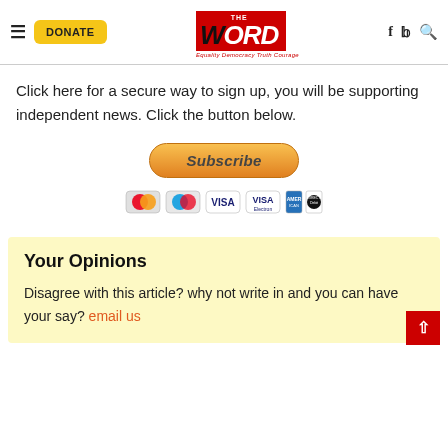THE WORD — Equality Democracy Truth Courage — with DONATE button, hamburger menu, f, twitter, and search icons
Click here for a secure way to sign up, you will be supporting independent news. Click the button below.
[Figure (other): Subscribe PayPal button with payment method icons (MasterCard, Maestro, VISA, VISA Electron, American Express, Direct Debit)]
Your Opinions
Disagree with this article? why not write in and you can have your say? email us